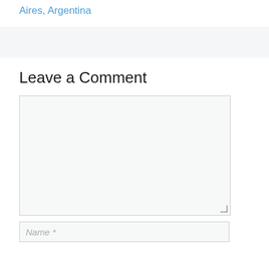Aires, Argentina
Leave a Comment
[Comment textarea field]
Name *